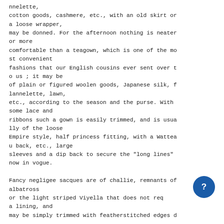nnelette, cotton goods, cashmere, etc., with an old skirt or a loose wrapper, may be donned. For the afternoon nothing is neater or more comfortable than a teagown, which is one of the most convenient fashions that our English cousins ever sent over to us ; it may be of plain or figured woolen goods, Japanese silk, flannelette, lawn, etc., according to the season and the purse. With some lace and ribbons such a gown is easily trimmed, and is usually of the loose Empire style, half princess fitting, with a Watteau back, etc., large sleeves and a dip back to secure the "long lines" now in vogue.

Fancy negligee sacques are of challie, remnants of albatross or the light striped Viyella that does not req a lining, and may be simply trimmed with featherstitched edges d